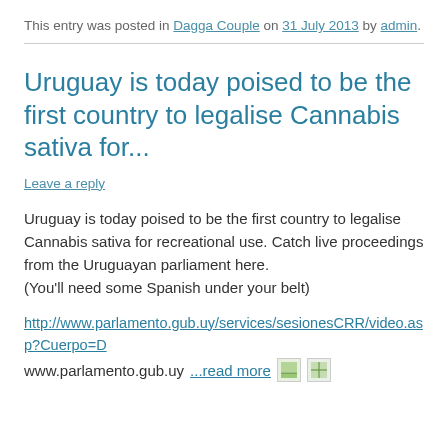This entry was posted in Dagga Couple on 31 July 2013 by admin.
Uruguay is today poised to be the first country to legalise Cannabis sativa for...
Leave a reply
Uruguay is today poised to be the first country to legalise Cannabis sativa for recreational use. Catch live proceedings from the Uruguayan parliament here.
(You'll need some Spanish under your belt)
http://www.parlamento.gub.uy/services/sesionesCRR/video.asp?Cuerpo=D
www.parlamento.gub.uy ...read more